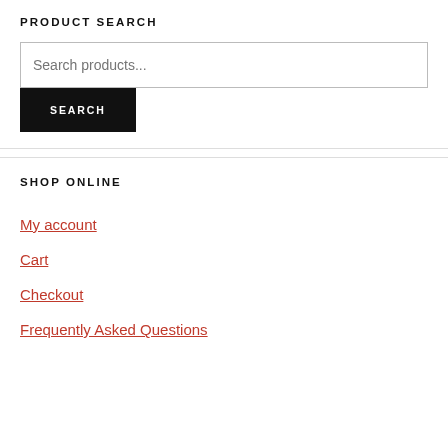PRODUCT SEARCH
Search products...
SEARCH
SHOP ONLINE
My account
Cart
Checkout
Frequently Asked Questions